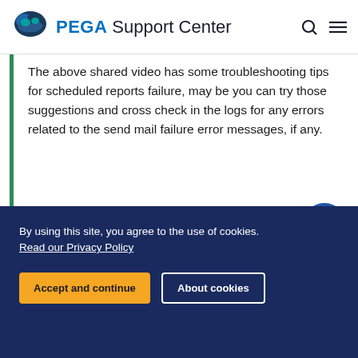PEGA Support Center
The above shared video has some troubleshooting tips for scheduled reports failure, may be you can try those suggestions and cross check in the logs for any errors related to the send mail failure error messages, if any.
Like (0)
NEED HELP OR WANT TO HELP OTHERS?
By using this site, you agree to the use of cookies. Read our Privacy Policy
Accept and continue
About cookies